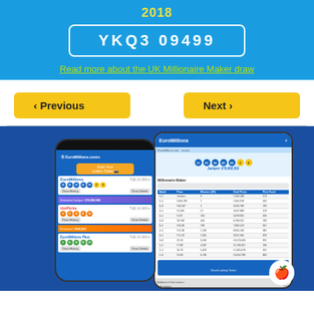2018
YKQ3 09499
Read more about the UK Millionaire Maker draw
‹ Previous
Next ›
[Figure (screenshot): EuroMillions website screenshot showing mobile phone and tablet devices displaying the EuroMillions results app with lottery balls, draw results table, and Apple App Store icon]